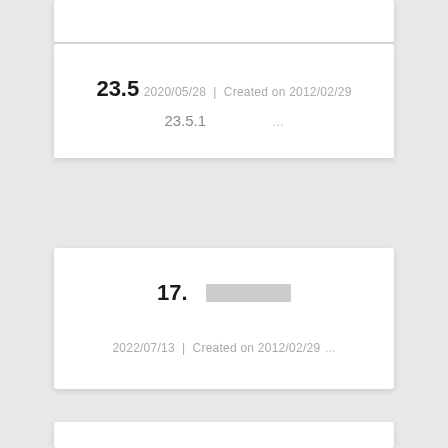23.5
2020/05/28 | Created on 2012/02/29
23.5.1   ...
17.   [redacted]
2022/07/13 | Created on 2012/02/29
...